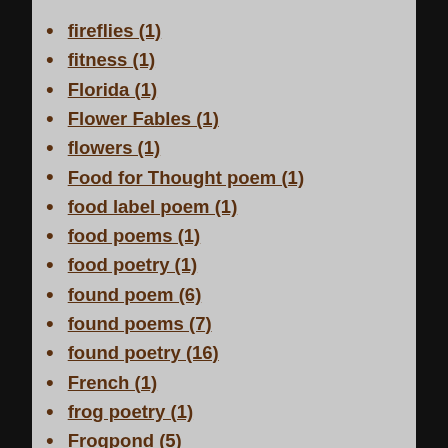fireflies (1)
fitness (1)
Florida (1)
Flower Fables (1)
flowers (1)
Food for Thought poem (1)
food label poem (1)
food poems (1)
food poetry (1)
found poem (6)
found poems (7)
found poetry (16)
French (1)
frog poetry (1)
Frogpond (5)